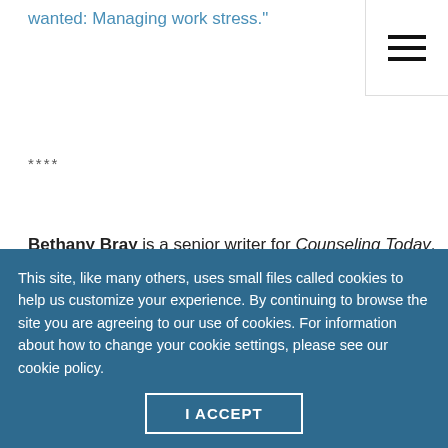wanted: Managing work stress."
[Figure (other): Hamburger menu icon with three horizontal lines]
****
Bethany Bray is a senior writer for Counseling Today. Contact her at bbray@counseling.org
This site, like many others, uses small files called cookies to help us customize your experience. By continuing to browse the site you are agreeing to our use of cookies. For information about how to change your cookie settings, please see our cookie policy.
I ACCEPT